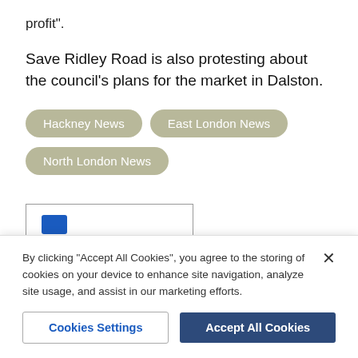profit”.
Save Ridley Road is also protesting about the council’s plans for the market in Dalston.
Hackney News
East London News
North London News
[Figure (other): Comments section icon with speech bubble icon in blue and bold blue 'Comments' label, inside a bordered box]
By clicking “Accept All Cookies”, you agree to the storing of cookies on your device to enhance site navigation, analyze site usage, and assist in our marketing efforts.
Cookies Settings
Accept All Cookies